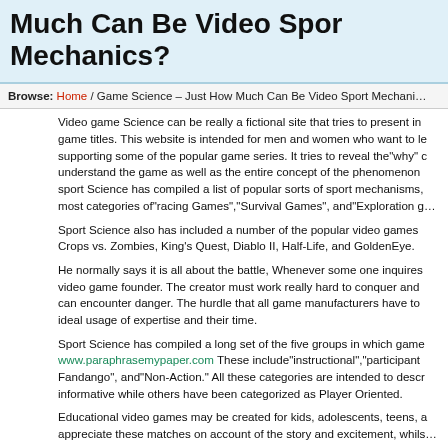Much Can Be Video Sport Mechanics?
Browse: Home / Game Science – Just How Much Can Be Video Sport Mechanics?
Video game Science can be really a fictional site that tries to present information about game titles. This website is intended for men and women who want to learn more about supporting some of the popular game series. It tries to reveal the"why" of games to understand the game as well as the entire concept of the phenomenon. Video sport Science has compiled a list of popular sorts of sport mechanisms, covering the most categories of"racing Games","Survival Games", and"Exploration g...
Sport Science also has included a number of the popular video games such as Plants vs Crops vs. Zombies, King's Quest, Diablo II, Half-Life, and GoldenEye.
He normally says it is all about the battle, Whenever some one inquires about the video game founder. The creator must work really hard to conquer and also the players can encounter danger. The hurdle that all game manufacturers have to overcome is ideal usage of expertise and their time.
Sport Science has compiled a long set of the five groups in which games are listed: www.paraphrasemypaper.com These include"instructional","participant", Fandango", and"Non-Action." All these categories are intended to describe some as informative while others have been categorized as Player Oriented.
Educational video games may be created for kids, adolescents, teens, and adults appreciate these matches on account of the story and excitement, whils...